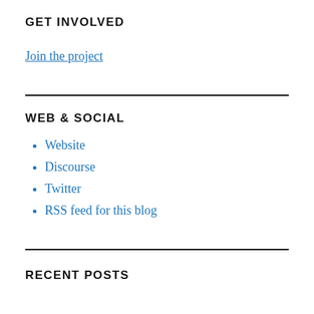GET INVOLVED
Join the project
WEB & SOCIAL
Website
Discourse
Twitter
RSS feed for this blog
RECENT POSTS